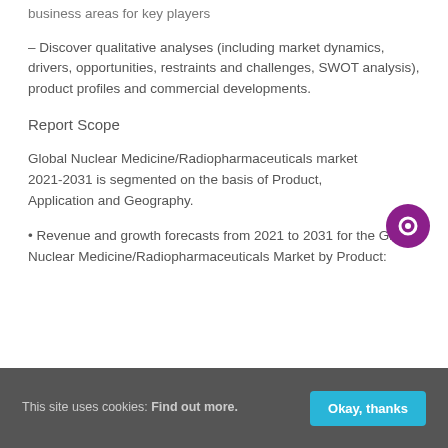business areas for key players
– Discover qualitative analyses (including market dynamics, drivers, opportunities, restraints and challenges, SWOT analysis), product profiles and commercial developments.
Report Scope
Global Nuclear Medicine/Radiopharmaceuticals market 2021-2031 is segmented on the basis of Product, Application and Geography.
• Revenue and growth forecasts from 2021 to 2031 for the Global Nuclear Medicine/Radiopharmaceuticals Market by Product:
This site uses cookies: Find out more.
Okay, thanks